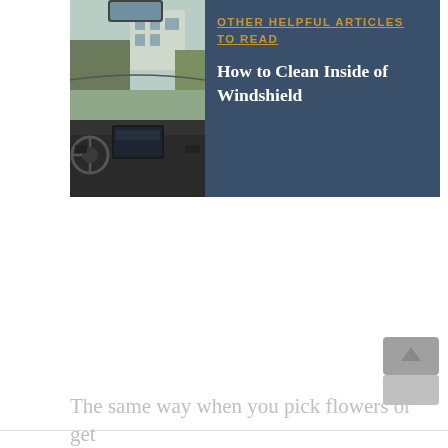[Figure (screenshot): A card-style article recommendation block showing a car interior dashboard photo on the left, and on the right a dark navy blue background with gold underlined text reading 'OTHER HELPFUL ARTICLES TO READ' and white bold text 'How to Clean Inside of Windshield']
[Figure (other): A grey scroll-to-top button widget in the bottom right corner of the page]
The same way when you pick flowers or get